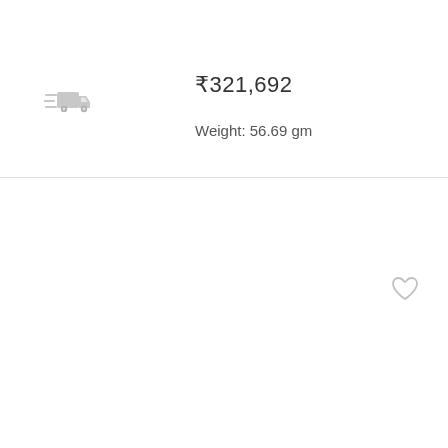[Figure (illustration): Fast delivery truck icon in light gray, showing speed lines on left side of truck]
₹321,692
Weight: 56.69 gm
[Figure (illustration): Heart/wishlist outline icon in light gray, positioned in upper right of bottom section]